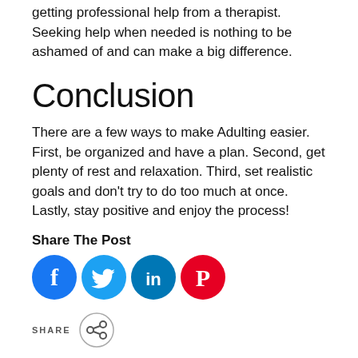getting professional help from a therapist. Seeking help when needed is nothing to be ashamed of and can make a big difference.
Conclusion
There are a few ways to make Adulting easier. First, be organized and have a plan. Second, get plenty of rest and relaxation. Third, set realistic goals and don't try to do too much at once. Lastly, stay positive and enjoy the process!
Share The Post
[Figure (infographic): Social media share icons: Facebook (blue circle with f), Twitter (light blue circle with bird), LinkedIn (teal circle with in), Pinterest (red circle with P)]
[Figure (infographic): SHARE button with share icon circle at bottom of page]